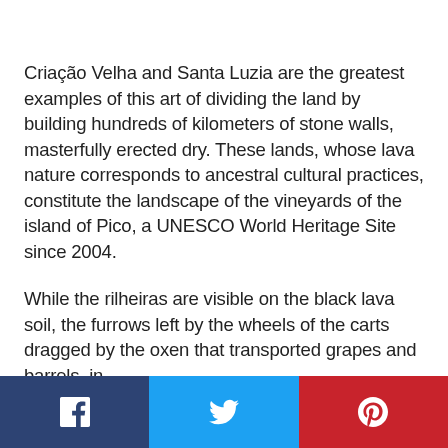Criação Velha and Santa Luzia are the greatest examples of this art of dividing the land by building hundreds of kilometers of stone walls, masterfully erected dry. These lands, whose lava nature corresponds to ancestral cultural practices, constitute the landscape of the vineyards of the island of Pico, a UNESCO World Heritage Site since 2004.
While the rilheiras are visible on the black lava soil, the furrows left by the wheels of the carts dragged by the oxen that transported grapes and barrels, in